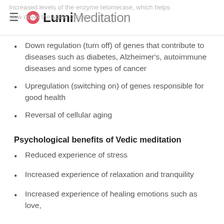Lumi Meditation
Increased levels of the enzyme telomerase, which helps slow down the aging process
Down regulation (turn off) of genes that contribute to diseases such as diabetes, Alzheimer's, autoimmune diseases and some types of cancer
Upregulation (switching on) of genes responsible for good health
Reversal of cellular aging
Psychological benefits of Vedic meditation
Reduced experience of stress
Increased experience of relaxation and tranquility
Increased experience of healing emotions such as love,